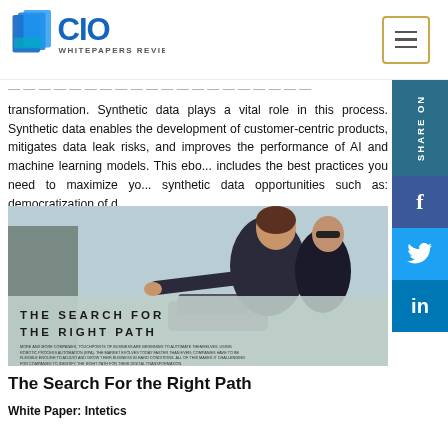CIO WHITEPAPERS REVIEW
transformation. Synthetic data plays a vital role in this process. Synthetic data enables the development of customer-centric products, mitigates data leak risks, and improves the performance of AI and machine learning models. This ebo... includes the best practices you need to maximize yo... synthetic data opportunities such as: democratization of d...
[Figure (photo): Photo of a person reaching out, overlaid with text 'THE SEARCH FOR THE RIGHT PATH' and small body text in two columns. Background shows outdoor scene.]
The Search For the Right Path
White Paper: Intetics